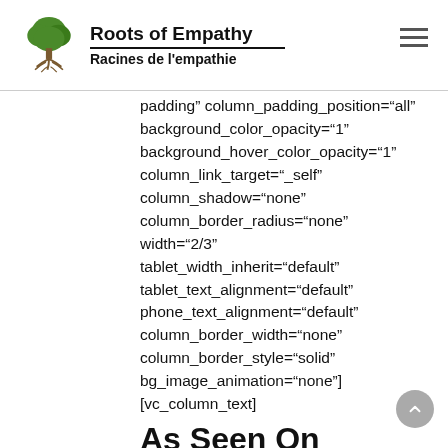Roots of Empathy / Racines de l'empathie
padding" column_padding_position="all" background_color_opacity="1" background_hover_color_opacity="1" column_link_target="_self" column_shadow="none" column_border_radius="none" width="2/3" tablet_width_inherit="default" tablet_text_alignment="default" phone_text_alignment="default" column_border_width="none" column_border_style="solid" bg_image_animation="none"] [vc_column_text]
As Seen On
[/vc_column_text][clients columns="3" hover_effect="opacity" additional_padding="4"][client image="7125" title="Client"